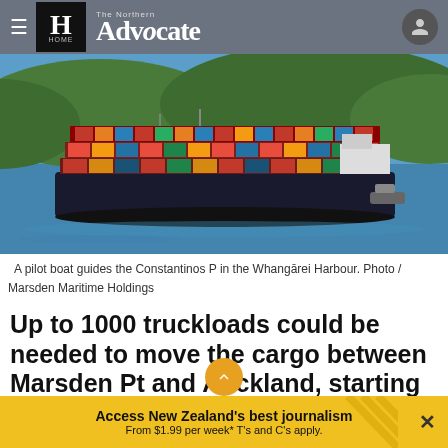The Northern Advocate — HOME
[Figure (photo): A large container ship loaded with colorful shipping containers sailing through Whangārei Harbour, with green hills in the background and a small pilot boat visible nearby.]
A pilot boat guides the Constantinos P in the Whangārei Harbour. Photo / Marsden Maritime Holdings
Up to 1000 truckloads could be needed to move the cargo between Marsden Pt and Auckland, starting this Thursday.
Access New Zealand's best journalism From $1.99 per week* T's and C's apply.